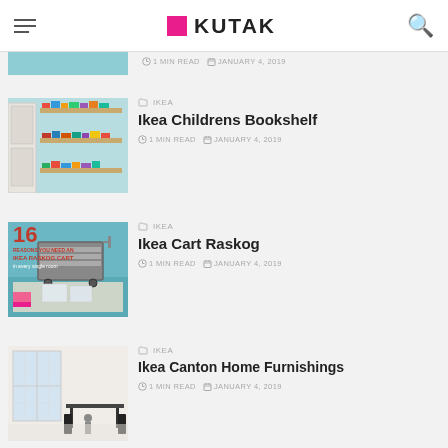KUTAK
[Figure (photo): Partial view of a room with light blue/teal wall, cropped at top]
1 MIN READ   JANUARY 4, 2019
[Figure (photo): Children's bookshelf with colorful books mounted on wall near a door]
IKEA
Ikea Childrens Bookshelf
1 MIN READ   JANUARY 4, 2019
[Figure (photo): Ikea Raskog cart promotional image with text 16 Reasons You Need An Ikea Raskog Cart In Every Single Room]
IKEA
Ikea Cart Raskog
1 MIN READ   JANUARY 4, 2019
[Figure (photo): Bright white room with large windows and dark dining chairs]
IKEA
Ikea Canton Home Furnishings
1 MIN READ   JANUARY 4, 2019